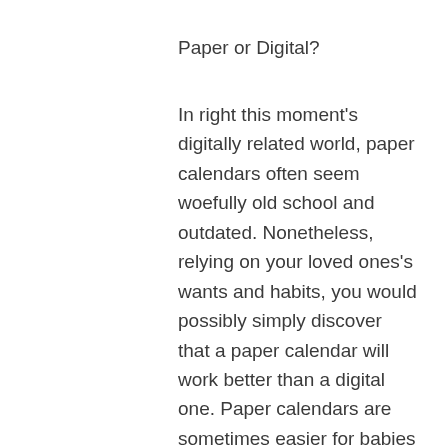Paper or Digital?
In right this moment's digitally related world, paper calendars often seem woefully old school and outdated. Nonetheless, relying on your loved ones's wants and habits, you would possibly simply discover that a paper calendar will work better than a digital one. Paper calendars are sometimes easier for babies or members of the family who are uncomfortable with computers to make use of and understand. Many individuals also find that it is easier to simply jot one thing on a calendar than to take a seat down on the computer and make an entry in a